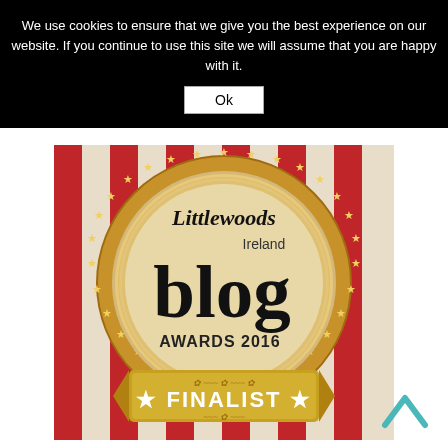We use cookies to ensure that we give you the best experience on our website. If you continue to use this site we will assume that you are happy with it.
Ok
[Figure (logo): Littlewoods Ireland Blog Awards 2016 Finalist badge — circular medallion with gold border and stars on red and cream striped background, with a gold banner reading FINALIST at the bottom]
[Figure (other): Teal/turquoise upward-pointing chevron arrow (back to top button)]